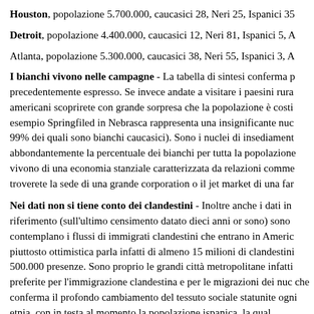Houston, popolazione 5.700.000, caucasici 28, Neri 25, Ispanici 35…
Detroit, popolazione 4.400.000, caucasici 12, Neri 81, Ispanici 5, A…
Atlanta, popolazione 5.300.000, caucasici 38, Neri 55, Ispanici 3, A…
I bianchi vivono nelle campagne - La tabella di sintesi conferma p… precedentemente espresso. Se invece andate a visitare i paesini rura… americani scoprirete con grande sorpresa che la popolazione è costi… esempio Springfiled in Nebrasca rappresenta una insignificante nuc… 99% dei quali sono bianchi caucasici). Sono i nuclei di insediament… abbondantemente la percentuale dei bianchi per tutta la popolazione… vivono di una economia stanziale caratterizzata da relazioni comme… troverete la sede di una grande corporation o il jet market di una far…
Nei dati non si tiene conto dei clandestini - Inoltre anche i dati in… riferimento (sull'ultimo censimento datato dieci anni or sono) sono… contemplano i flussi di immigrati clandestini che entrano in Americ… piuttosto ottimistica parla infatti di almeno 15 milioni di clandestini… 500.000 presenze. Sono proprio le grandi città metropolitane infatti… preferite per l'immigrazione clandestina e per le migrazioni dei nuc… che conferma il profondo cambiamento del tessuto sociale statunite… ogni etnia, con in testa al momento la popolazione ispanica, la qual… statunitense entro il 2030.